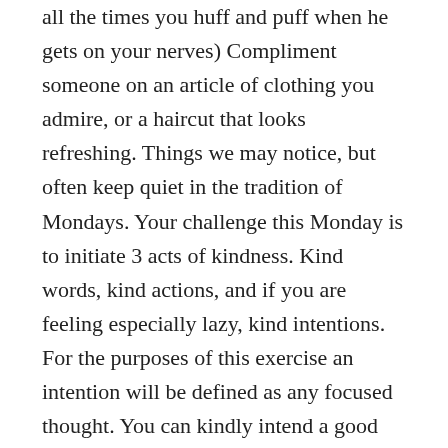all the times you huff and puff when he gets on your nerves) Compliment someone on an article of clothing you admire, or a haircut that looks refreshing. Things we may notice, but often keep quiet in the tradition of Mondays. Your challenge this Monday is to initiate 3 acts of kindness. Kind words, kind actions, and if you are feeling especially lazy, kind intentions. For the purposes of this exercise an intention will be defined as any focused thought. You can kindly intend a good day for a fellow coworker or anything like that.
Remember this and do this at the start of the day. You may find yourself on a roll, and more importantly you may very well find yourself looking for things which are